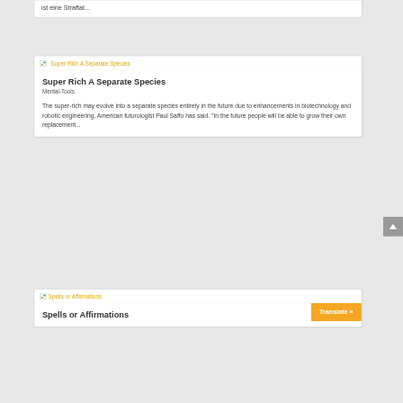ist eine Straftat...
[Figure (other): Thumbnail image for Super Rich A Separate Species article]
Super Rich A Separate Species
Mental-Tools
The super-rich may evolve into a separate species entirely in the future due to enhancements in biotechnology and robotic engineering, American futurologist Paul Saffo has said. "In the future people will be able to grow their own replacement...
[Figure (other): Thumbnail image for Spells or Affirmations article]
Spells or Affirmations
Translate »